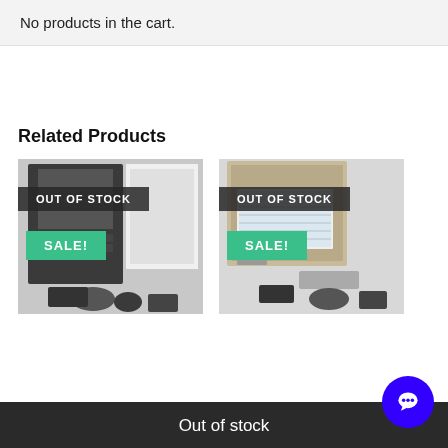No products in the cart.
Related Products
[Figure (photo): HVAC unit product image with OUT OF STOCK and SALE! badges]
[Figure (photo): HVAC coil unit product image with OUT OF STOCK and SALE! badges]
Out of stock